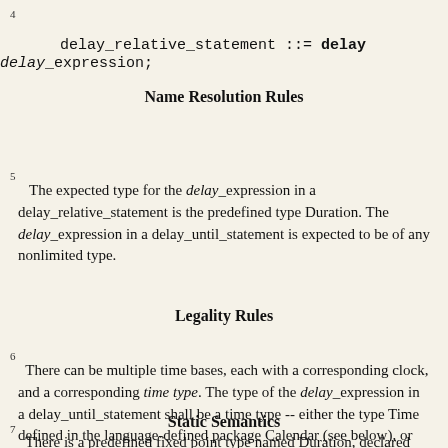4
Name Resolution Rules
5
The expected type for the delay_expression in a delay_relative_statement is the predefined type Duration. The delay_expression in a delay_until_statement is expected to be of any nonlimited type.
Legality Rules
6
There can be multiple time bases, each with a corresponding clock, and a corresponding time type. The type of the delay_expression in a delay_until_statement shall be a time type -- either the type Time defined in the language-defined package Calendar (see below), or some other implementation-defined time type (see D.8).
Static Semantics
7
There is a predefined fixed point type named Duration, declared